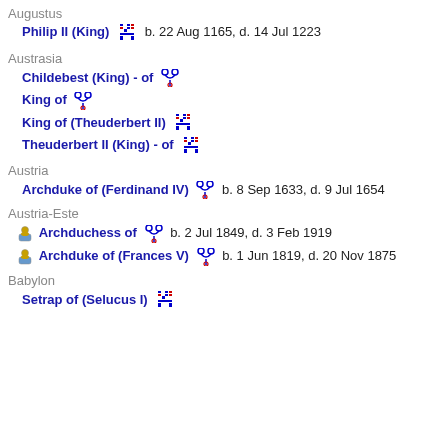Augustus
Philip II (King)  b. 22 Aug 1165, d. 14 Jul 1223
Austrasia
Childebest (King) - of
King of
King of (Theuderbert II)
Theuderbert II (King) - of
Austria
Archduke of (Ferdinand IV)  b. 8 Sep 1633, d. 9 Jul 1654
Austria-Este
Archduchess of  b. 2 Jul 1849, d. 3 Feb 1919
Archduke of (Frances V)  b. 1 Jun 1819, d. 20 Nov 1875
Babylon
Setrap of (Selucus I)